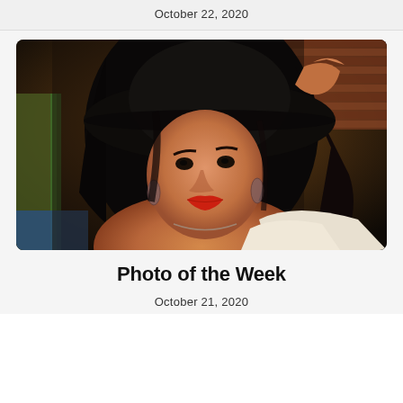October 22, 2020
[Figure (photo): A young woman with long dark hair, wearing a wide-brim black hat which she holds with one hand raised, red lipstick, hoop earrings, a delicate necklace, and a white ruffled off-shoulder top. She poses against a blurred urban background with brick wall and green/yellow architectural elements.]
Photo of the Week
October 21, 2020